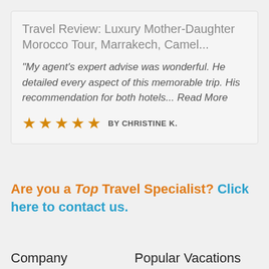Travel Review: Luxury Mother-Daughter Morocco Tour, Marrakech, Camel...
"My agent's expert advise was wonderful. He detailed every aspect of this memorable trip. His recommendation for both hotels... Read More
★★★★★ BY CHRISTINE K.
Are you a Top Travel Specialist? Click here to contact us.
Company
Popular Vacations
About Our Services
Zicasso In the News
Questions?
Private European Tours
Downton Abbey Tour
Luxury African Safaris